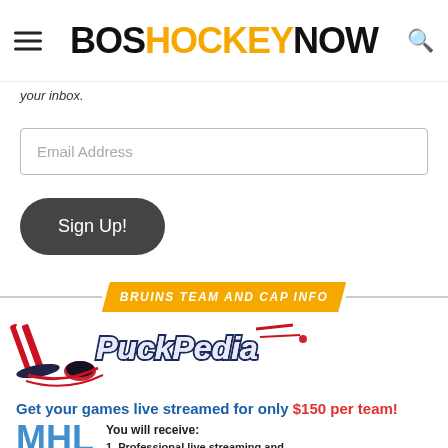BOSHOCKEYNOW
your inbox.
[Figure (screenshot): Email Address input field]
[Figure (screenshot): Sign Up! button with dark rounded pill shape]
[Figure (infographic): BRUINS TEAM AND CAP INFO banner label with horizontal dividers]
[Figure (logo): PuckPedia logo - hockey stick and puck graphic with stylized text]
[Figure (infographic): MHL advertisement - Get your games live streamed for only $150 per team! You will receive: 1. Professional live streaming and play-by-play broadcast of your]